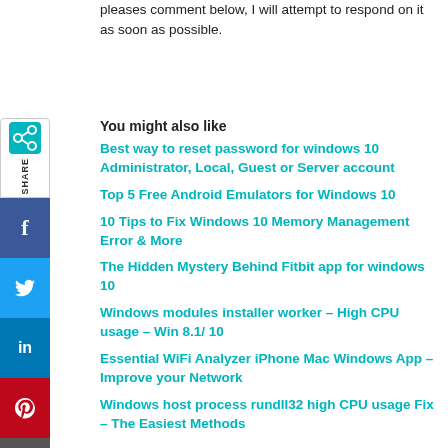pleases comment below, I will attempt to respond on it as soon as possible.
You might also like
Best way to reset password for windows 10 Administrator, Local, Guest or Server account
Top 5 Free Android Emulators for Windows 10
10 Tips to Fix Windows 10 Memory Management Error & More
The Hidden Mystery Behind Fitbit app for windows 10
Windows modules installer worker – High CPU usage – Win 8.1/ 10
Essential WiFi Analyzer iPhone Mac Windows App – Improve your Network
Windows host process rundll32 high CPU usage Fix – The Easiest Methods